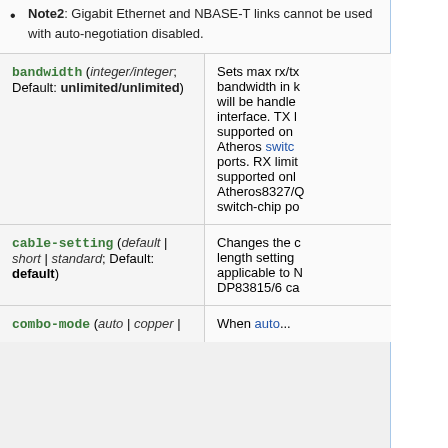Note2: Gigabit Ethernet and NBASE-T links cannot be used with auto-negotiation disabled.
| Parameter | Description |
| --- | --- |
| bandwidth (integer/integer; Default: unlimited/unlimited) | Sets max rx/tx bandwidth in kbps, will be handled by interface. TX limit is supported on Atheros switch-chip ports. RX limit is supported only on Atheros8327/QCA8337 switch-chip ports. |
| cable-setting (default | short | standard; Default: default) | Changes the cable length setting, applicable to National DP83815/6 cards. |
| combo-mode (auto | copper | ... | When auto... |